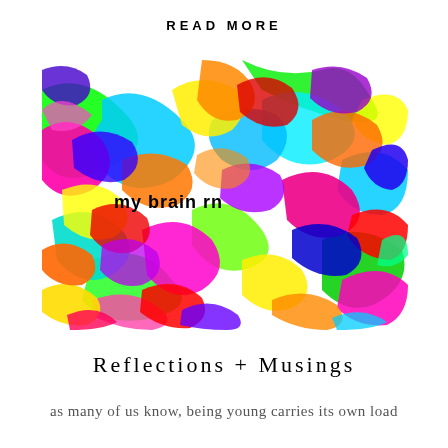READ MORE
[Figure (illustration): Colorful abstract painting with chaotic overlapping brushstrokes in neon colors (green, cyan, magenta, yellow, orange, red, blue, purple) on a white background. Text 'my brain rn' appears in bold black in the lower-left area of the image.]
Reflections + Musings
as many of us know, being young carries its own load